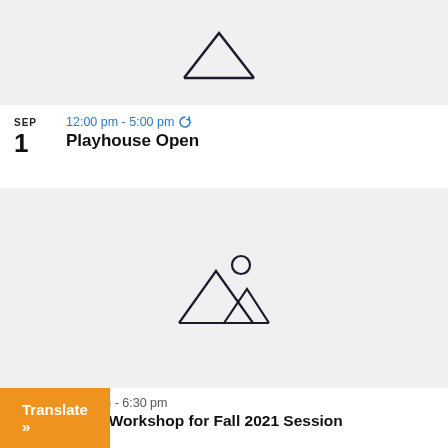[Figure (illustration): Gray placeholder image box with mountain/landscape icon at top of page (partially visible)]
SEP
1
12:00 pm - 5:00 pm ↻
Playhouse Open
[Figure (illustration): Gray placeholder image box with mountain/landscape outline icon]
SEP
1
5:00 pm - 6:30 pm
Tutor Workshop for Fall 2021 Session
Translate »